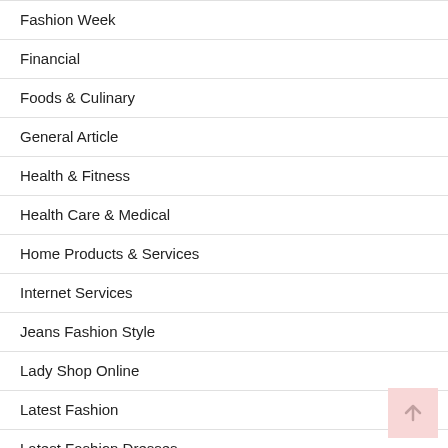Fashion Week
Financial
Foods & Culinary
General Article
Health & Fitness
Health Care & Medical
Home Products & Services
Internet Services
Jeans Fashion Style
Lady Shop Online
Latest Fashion
Latest Fashion Dresses
Latest Fashion For Women
Latest Fashion Trends